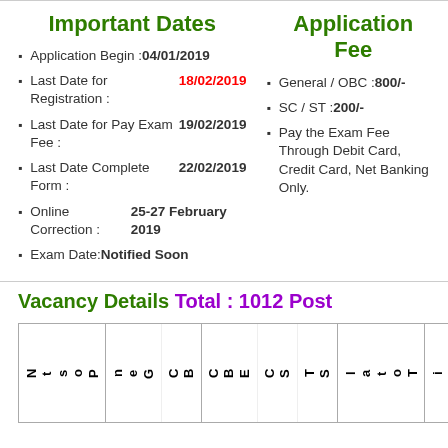Important Dates
Application Begin : 04/01/2019
Last Date for Registration : 18/02/2019
Last Date for Pay Exam Fee : 19/02/2019
Last Date Complete Form : 22/02/2019
Online Correction : 25-27 February 2019
Exam Date: Notified Soon
Application Fee
General / OBC : 800/-
SC / ST : 200/-
Pay the Exam Fee Through Debit Card, Credit Card, Net Banking Only.
Vacancy Details Total : 1012 Post
| Post N | Gen | BC | EBC | SC | ST | Total | Age Li |  |
| --- | --- | --- | --- | --- | --- | --- | --- | --- |